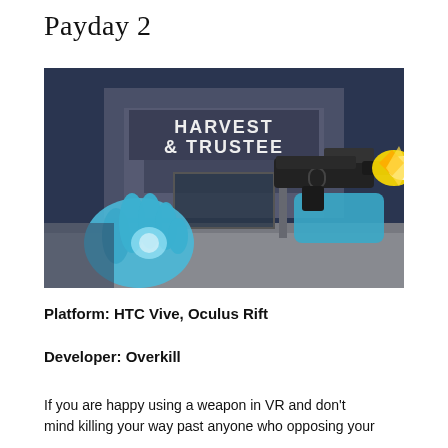Payday 2
[Figure (photo): First-person VR perspective showing blue-gloved hands in front of a Harvest & Trustee bank building. The left hand is open and glowing blue, the right hand holds a gun firing with a muzzle flash.]
Platform: HTC Vive, Oculus Rift
Developer: Overkill
If you are happy using a weapon in VR and don't mind killing your way past anyone who opposing your